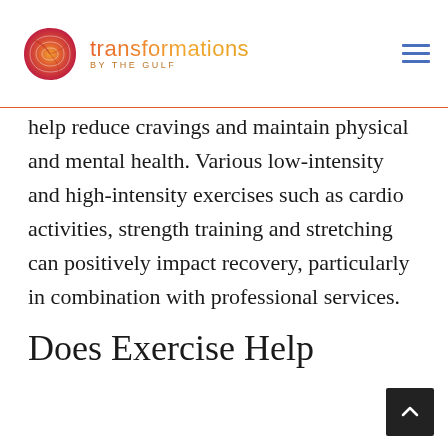transformations BY THE GULF
help reduce cravings and maintain physical and mental health. Various low-intensity and high-intensity exercises such as cardio activities, strength training and stretching can positively impact recovery, particularly in combination with professional services.
Does Exercise Help